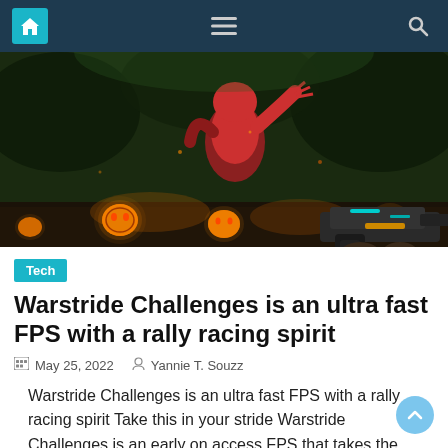Navigation bar with home, menu, and search icons
[Figure (screenshot): First-person shooter game screenshot showing a demonic creature floating in the air with glowing pumpkins on the ground in a dark Halloween-themed environment, player holding a gun]
Tech
Warstride Challenges is an ultra fast FPS with a rally racing spirit
May 25, 2022  Yannie T. Souzz
Warstride Challenges is an ultra fast FPS with a rally racing spirit Take this in your stride Warstride Challenges is an early on access FPS that takes the retro shoot 'em up and straps it in a rally car. Each level is a class with straights and corners and demons. You lot must cross the stop [...]